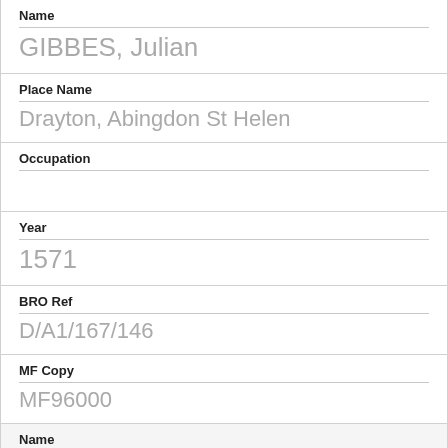Name
GIBBES, Julian
Place Name
Drayton, Abingdon St Helen
Occupation
Year
1571
BRO Ref
D/A1/167/146
MF Copy
MF96000
Name
GIBBES, Margaret